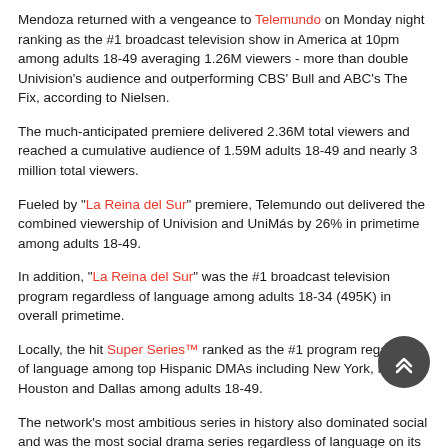Mendoza returned with a vengeance to Telemundo on Monday night ranking as the #1 broadcast television show in America at 10pm among adults 18-49 averaging 1.26M viewers - more than double Univision's audience and outperforming CBS' Bull and ABC's The Fix, according to Nielsen.
The much-anticipated premiere delivered 2.36M total viewers and reached a cumulative audience of 1.59M adults 18-49 and nearly 3 million total viewers.
Fueled by "La Reina del Sur" premiere, Telemundo out delivered the combined viewership of Univision and UniMás by 26% in primetime among adults 18-49.
In addition, "La Reina del Sur" was the #1 broadcast television program regardless of language among adults 18-34 (495K) in overall primetime.
Locally, the hit Super Series™ ranked as the #1 program regardless of language among top Hispanic DMAs including New York, Miami, Houston and Dallas among adults 18-49.
The network's most ambitious series in history also dominated social and was the most social drama series regardless of language on its premiere night.
"La Reina del Sur Season Two" generated 584K actions across social platforms (Facebook, Instagram & Twitter) and 707K native views on